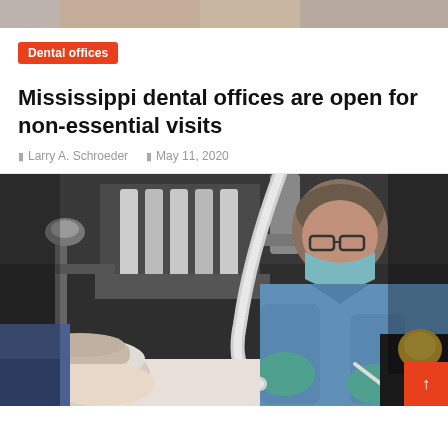[Figure (photo): Partial top strip of a photo, cropped at top]
Dental offices
Mississippi dental offices are open for non-essential visits
Larry A. Schroeder   May 11, 2020
[Figure (photo): A dentist in blue scrubs and a teal surgical mask and gloves performs a dental procedure on a patient reclined in a dental chair, with dental equipment visible in the background]